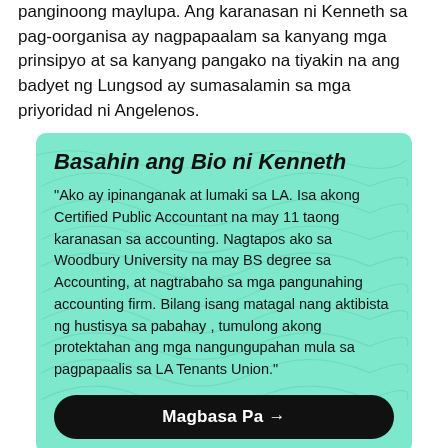panginoong maylupa. Ang karanasan ni Kenneth sa pag-oorganisa ay nagpapaalam sa kanyang mga prinsipyo at sa kanyang pangako na tiyakin na ang badyet ng Lungsod ay sumasalamin sa mga priyoridad ni Angelenos.
Basahin ang Bio ni Kenneth
"Ako ay ipinanganak at lumaki sa LA. Isa akong Certified Public Accountant na may 11 taong karanasan sa accounting. Nagtapos ako sa Woodbury University na may BS degree sa Accounting, at nagtrabaho sa mga pangunahing accounting firm. Bilang isang matagal nang aktibista ng hustisya sa pabahay , tumulong akong protektahan ang mga nangungupahan mula sa pagpapaalis sa LA Tenants Union."
Magbasa Pa →
Aming Mga Mapagkukunan at Data
Nag-publish kami ng mga mapa ng Abot-kayang Pabahay sa LA, mga lugar ng madalas na parking ticket, 41.18 anti-